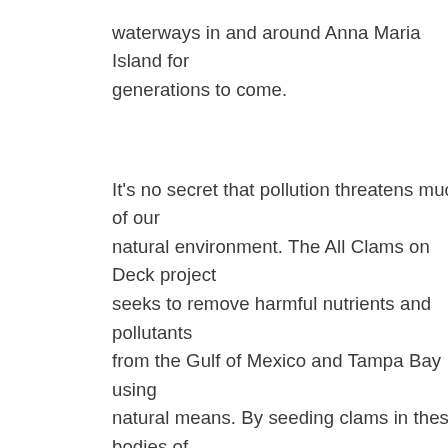waterways in and around Anna Maria Island for generations to come.
It's no secret that pollution threatens much of our natural environment. The All Clams on Deck project seeks to remove harmful nutrients and pollutants from the Gulf of Mexico and Tampa Bay using natural means. By seeding clams in these bodies of water, The All Clams on Deck initiative is working to remove what's detrimental to our waterways while also contributing to the ecosystem for healthier sea life.
One little clam can filter up to 10 gallons of water per day. When you put hundreds or thousands of clams into a body of water, those little shellfish can filter millions of gallons of water per day. In turn, this